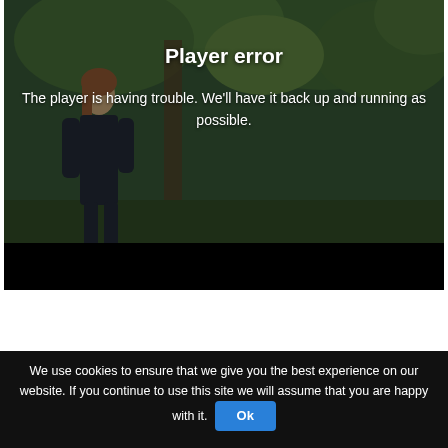[Figure (screenshot): Video player showing a dimmed outdoor/garden background image with a person standing. An error overlay is displayed with 'Player error' title and message. A black control bar appears at the bottom of the player.]
Player error
The player is having trouble. We'll have it back up and running as possible.
We use cookies to ensure that we give you the best experience on our website. If you continue to use this site we will assume that you are happy with it. Ok